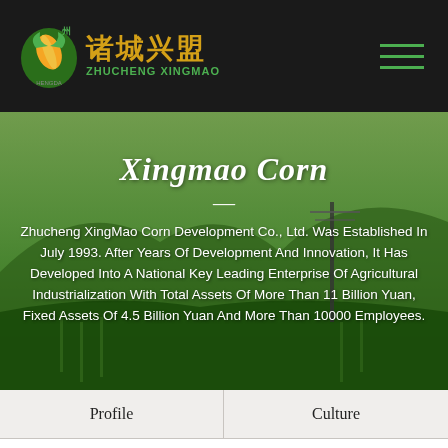诸城兴盟 ZHUCHENG XINGMAO
Xingmao Corn
Zhucheng XingMao Corn Development Co., Ltd. Was Established In July 1993. After Years Of Development And Innovation, It Has Developed Into A National Key Leading Enterprise Of Agricultural Industrialization With Total Assets Of More Than 11 Billion Yuan, Fixed Assets Of 4.5 Billion Yuan And More Than 10000 Employees.
Profile
Culture
Chairman's Speech
Branch
Enterprise Vision
Leadership Care
Honor